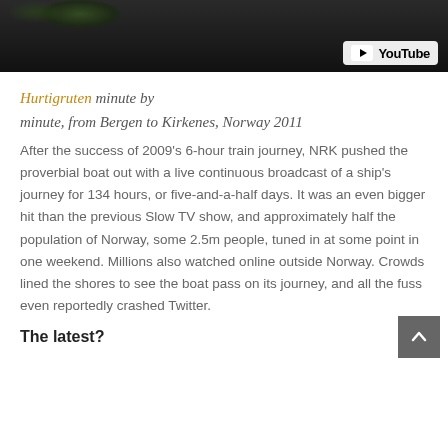[Figure (screenshot): YouTube video thumbnail — dark/black background with a small glimpse of green foliage at top, YouTube badge (play button icon + 'YouTube' text) in top-right corner]
Hurtigruten minute by minute, from Bergen to Kirkenes, Norway 2011
After the success of 2009's 6-hour train journey, NRK pushed the proverbial boat out with a live continuous broadcast of a ship's journey for 134 hours, or five-and-a-half days. It was an even bigger hit than the previous Slow TV show, and approximately half the population of Norway, some 2.5m people, tuned in at some point in one weekend. Millions also watched online outside Norway. Crowds lined the shores to see the boat pass on its journey, and all the fuss even reportedly crashed Twitter.
The latest?